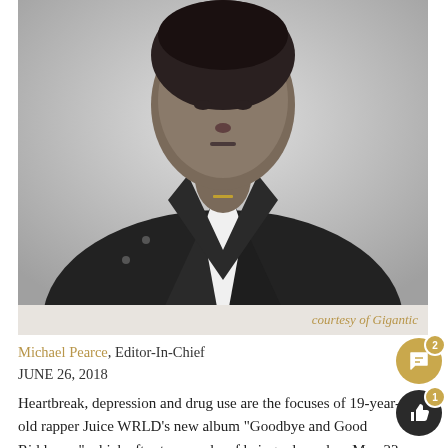[Figure (photo): Black and white portrait photograph of rapper Juice WRLD wearing a dark jacket over a white t-shirt, looking downward at the camera.]
courtesy of Gigantic
Michael Pearce, Editor-In-Chief
JUNE 26, 2018
Heartbreak, depression and drug use are the focuses of 19-year-old rapper Juice WRLD’s new album “Goodbye and Good Riddance,” which after two weeks of being released on May 22, 2018 rose to number eight on the billboard 200’s rap album chart. An up and coming star, Juice WRLD recently inked a record deal worth $3 million, and his fantastic album is no doubt a huge reason why.